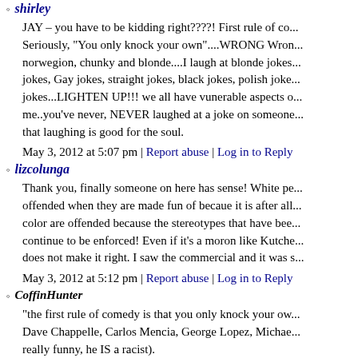shirley
JAY – you have to be kidding right????! First rule of co... Seriously, "You only knock your own"....WRONG Wron... norwegion, chunky and blonde....I laugh at blonde jokes... jokes, Gay jokes, straight jokes, black jokes, polish joke... jokes...LIGHTEN UP!!! we all have vunerable aspects o... me..you've never, NEVER laughed at a joke on someone... that laughing is good for the soul.
May 3, 2012 at 5:07 pm | Report abuse | Log in to Reply
lizcolunga
Thank you, finally someone on here has sense! White pe... offended when they are made fun of becaue it is after all... color are offended because the stereotypes that have bee... continue to be enforced! Even if it's a moron like Kutche... does not make it right. I saw the commercial and it was s...
May 3, 2012 at 5:12 pm | Report abuse | Log in to Reply
CoffinHunter
"the first rule of comedy is that you only knock your ow... Dave Chappelle, Carlos Mencia, George Lopez, Michae... really funny, he IS a racist).